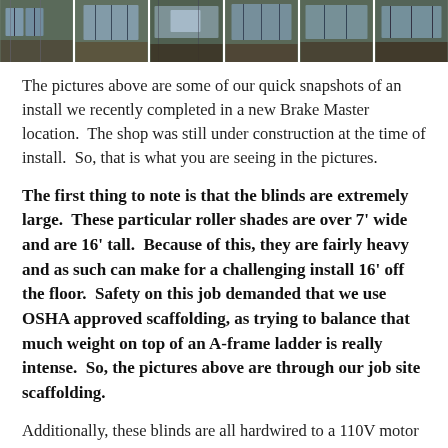[Figure (photo): Strip of six snapshot photos showing a large window/blind installation at a Brake Master location under construction, viewed through scaffolding.]
The pictures above are some of our quick snapshots of an install we recently completed in a new Brake Master location.  The shop was still under construction at the time of install.  So, that is what you are seeing in the pictures.
The first thing to note is that the blinds are extremely large.  These particular roller shades are over 7' wide and are 16' tall.  Because of this, they are fairly heavy and as such can make for a challenging install 16' off the floor.  Safety on this job demanded that we use OSHA approved scaffolding, as trying to balance that much weight on top of an A-frame ladder is really intense.  So, the pictures above are through our job site scaffolding.
Additionally, these blinds are all hardwired to a 110V motor and are programmed to an in-wall mounted radio control remote.  As such, it was necessary to isolate power